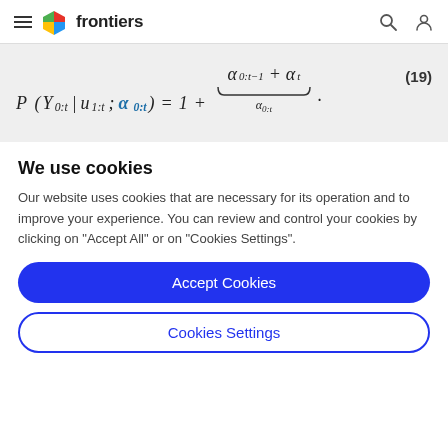frontiers
We use cookies
Our website uses cookies that are necessary for its operation and to improve your experience. You can review and control your cookies by clicking on "Accept All" or on "Cookies Settings".
Accept Cookies
Cookies Settings